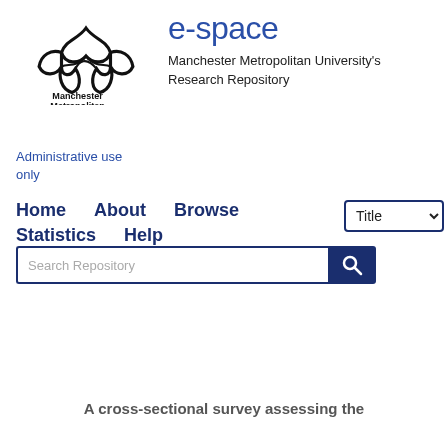[Figure (logo): Manchester Metropolitan University logo with flower/knot emblem and wordmark]
e-space
Manchester Metropolitan University's Research Repository
Administrative use only
Home   About   Browse   Statistics   Help
[Figure (screenshot): Search bar with 'Search Repository' placeholder and search button, plus Title dropdown]
Or Advanced Search
A cross-sectional survey assessing the